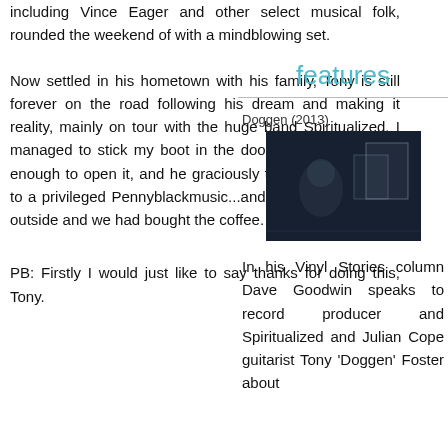including Vince Eager and other select musical folk, rounded the weekend of with a mindblowing set.
Now settled in his hometown with his family, Tony is still forever on the road following his dream and making it reality, mainly on tour with the huge band Spiritualized. I managed to stick my boot in the door when he was daft enough to open it, and he graciously took time out to talk to a privileged Pennyblackmusic...and anyway it was cold outside and we had bought the coffee.
PB: Firstly I would just like to say thanks for doing this, Tony.
features
Doggen (2013)
[Figure (photo): Photo of Doggen (2013) - a dark toned image of a person in a dimly lit setting with some light coloured objects in the background]
In his Vinyl Stories column Dave Goodwin speaks to record producer and Spiritualized and Julian Cope guitarist Tony 'Doggen' Foster about